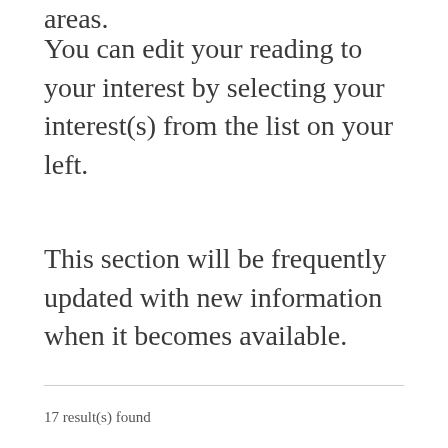areas.
You can edit your reading to your interest by selecting your interest(s) from the list on your left.
This section will be frequently updated with new information when it becomes available.
17 result(s) found